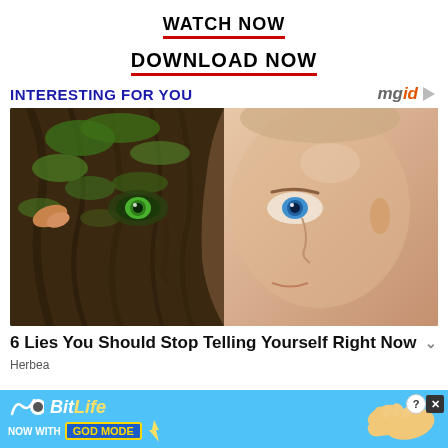WATCH NOW
DOWNLOAD NOW
INTERESTING FOR YOU
[Figure (logo): mgid logo with play button triangle]
[Figure (photo): Surreal composite photo of a man's face split in two: left half made of tree bark and moss with a green eye, right half a normal human face with a blue eye, set against a green blurred background]
6 Lies You Should Stop Telling Yourself Right Now
Herbea
[Figure (advertisement): BitLife game advertisement banner: cyan/blue background, BitLife logo in white and yellow italic text, 'NOW WITH GOD MODE' text with lightning bolt, pointing hand illustration, question mark circle and X close button]